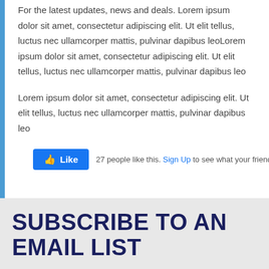For the latest updates, news and deals. Lorem ipsum dolor sit amet, consectetur adipiscing elit. Ut elit tellus, luctus nec ullamcorper mattis, pulvinar dapibus leoLorem ipsum dolor sit amet, consectetur adipiscing elit. Ut elit tellus, luctus nec ullamcorper mattis, pulvinar dapibus leo
Lorem ipsum dolor sit amet, consectetur adipiscing elit. Ut elit tellus, luctus nec ullamcorper mattis, pulvinar dapibus leo
[Figure (other): Facebook Like button widget showing '27 people like this. Sign Up to see what your friends like.']
SUBSCRIBE TO AN EMAIL LIST